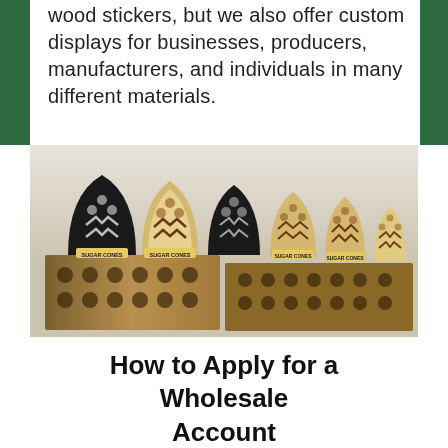wood stickers, but we also offer custom displays for businesses, producers, manufacturers, and individuals in many different materials.
[Figure (photo): Photograph of multiple wooden laser-cut sugar cone display stands labeled 'SUGAR CONES', arranged in a row on wooden holders with circular holes, against a light background.]
How to Apply for a Wholesale Account